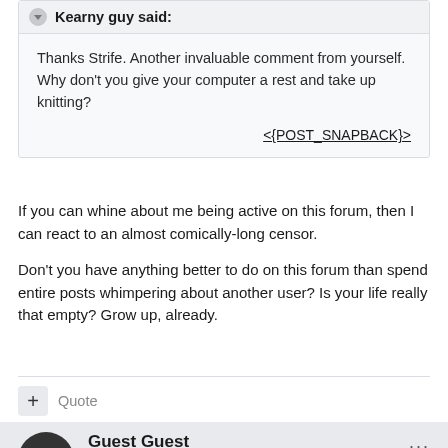Kearny guy said:
Thanks Strife. Another invaluable comment from yourself. Why don't you give your computer a rest and take up knitting?
<{POST_SNAPBACK}>
If you can whine about me being active on this forum, then I can react to an almost comically-long censor.
Don't you have anything better to do on this forum than spend entire posts whimpering about another user? Is your life really that empty? Grow up, already.
Quote
Guest Guest
Posted March 12, 2007